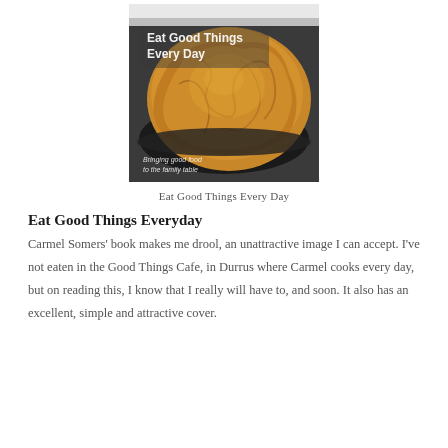[Figure (photo): Book cover of 'Eat Good Things Every Day' showing a golden pastry pie in a dark cast iron pan with text overlay 'Bringing good food to the family table']
Eat Good Things Every Day
Eat Good Things Everyday
Carmel Somers' book makes me drool, an unattractive image I can accept. I've not eaten in the Good Things Cafe, in Durrus where Carmel cooks every day, but on reading this, I know that I really will have to, and soon. It also has an excellent, simple and attractive cover.